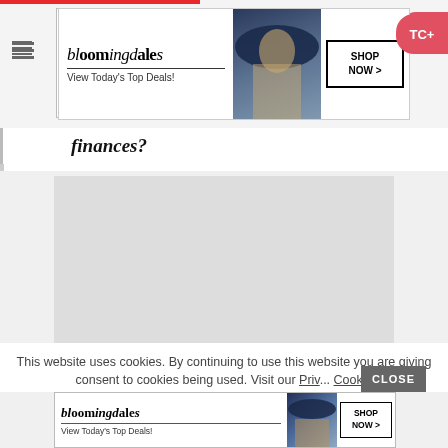[Figure (screenshot): Website page screenshot showing a navigation bar with hamburger menu, a Bloomingdales advertisement banner at top, partial italic bold heading text reading 'finances?', a gray content placeholder area, an Amazon promotional ad reading '37 ITEMS PEOPLE LOVE TO PURCHASE ON AMAZON' with badge number 22, a TC+ button in upper right, a cookie consent notice at bottom reading 'This website uses cookies. By continuing to use this website you are giving consent to cookies being used. Visit our Priv... Cookie', a CLOSE button, and a second Bloomingdales advertisement at the very bottom.]